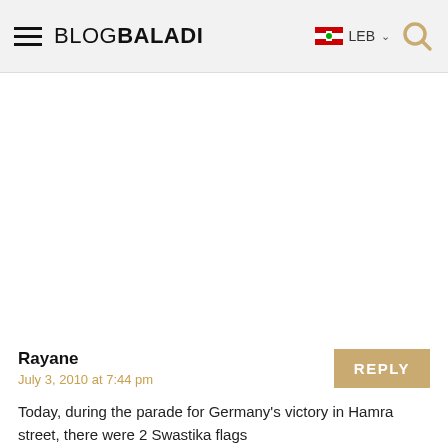BLOGBALADI — LEB
[Figure (other): White/empty advertisement space]
Rayane
July 3, 2010 at 7:44 pm
Today, during the parade for Germany's victory in Hamra street, there were 2 Swastika flags